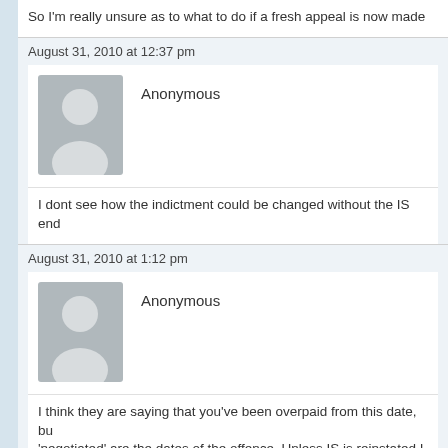So I'm really unsure as to what to do if a fresh appeal is now made
August 31, 2010 at 12:37 pm
Anonymous
I dont see how the indictment could be changed without the IS end
August 31, 2010 at 1:12 pm
Anonymous
I think they are saying that you've been overpaid from this date, bu 'negotiated' are the dates of the offence. Unless IS is reinstated I w
August 31, 2010 at 1:22 pm